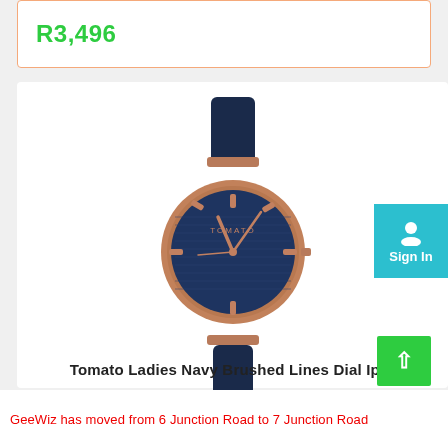R3,496
[Figure (photo): Tomato Ladies Navy Brushed Lines Dial watch with rose gold case and navy leather strap, displayed on white background]
Sign In
Tomato Ladies Navy Brushed Lines Dial Iprg
GeeWiz has moved from 6 Junction Road to 7 Junction Road